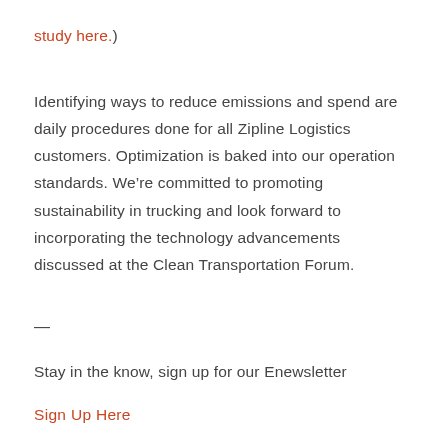study here.)
Identifying ways to reduce emissions and spend are daily procedures done for all Zipline Logistics customers. Optimization is baked into our operation standards. We’re committed to promoting sustainability in trucking and look forward to incorporating the technology advancements discussed at the Clean Transportation Forum.
—
Stay in the know, sign up for our Enewsletter
Sign Up Here